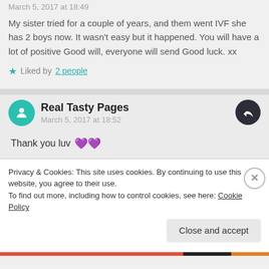March 5, 2017 at 18:49
My sister tried for a couple of years, and them went IVF she has 2 boys now. It wasn't easy but it happened. You will have a lot of positive Good will, everyone will send Good luck. xx
Liked by 2 people
Real Tasty Pages
March 5, 2017 at 18:52
Thank you luv 💜💜
Privacy & Cookies: This site uses cookies. By continuing to use this website, you agree to their use.
To find out more, including how to control cookies, see here: Cookie Policy
Close and accept